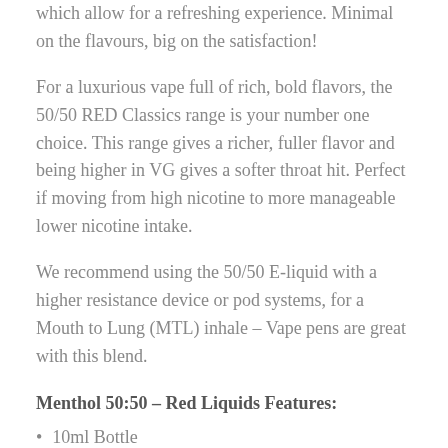which allow for a refreshing experience. Minimal on the flavours, big on the satisfaction!
For a luxurious vape full of rich, bold flavors, the 50/50 RED Classics range is your number one choice. This range gives a richer, fuller flavor and being higher in VG gives a softer throat hit. Perfect if moving from high nicotine to more manageable lower nicotine intake.
We recommend using the 50/50 E-liquid with a higher resistance device or pod systems, for a Mouth to Lung (MTL) inhale – Vape pens are great with this blend.
Menthol 50:50 – Red Liquids Features:
10ml Bottle
50VG/50PG